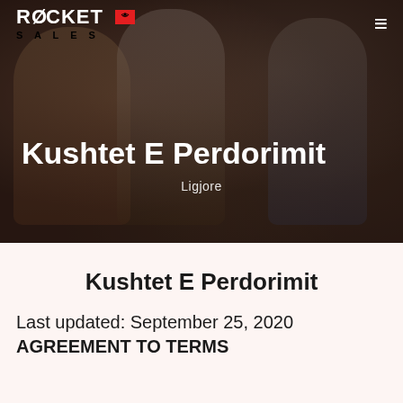[Figure (photo): Hero banner image showing people in a business/office environment. Dark overlay applied. Background photo of women having a business meeting in a modern space.]
ROCKET SALES
Kushtet E Perdorimit
Ligjore
Kushtet E Perdorimit
Last updated: September 25, 2020
AGREEMENT TO TERMS